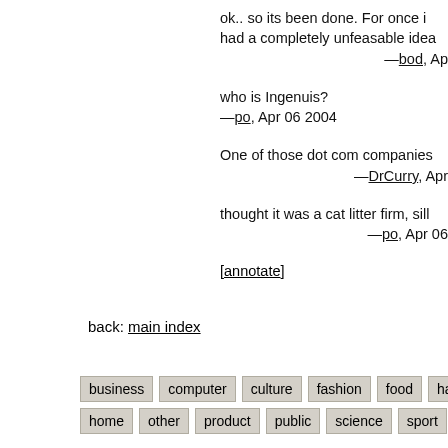ok.. so its been done. For once i had a completely unfeasable idea —bod, Ap
who is Ingenuis?
—po, Apr 06 2004
One of those dot com companies —DrCurry, Apr
thought it was a cat litter firm, sill —po, Apr 06
[annotate]
back: main index
business
computer
culture
fashion
food
halfbakery
home
other
product
public
science
sport
vehicle